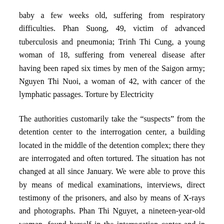baby a few weeks old, suffering from respiratory difficulties. Phan Suong, 49, victim of advanced tuberculosis and pneumonia; Trinh Thi Cung, a young woman of 18, suffering from venereal disease after having been raped six times by men of the Saigon army; Nguyen Thi Nuoi, a woman of 42, with cancer of the lymphatic passages. Torture by Electricity
The authorities customarily take the “suspects” from the detention center to the interrogation center, a building located in the middle of the detention complex; there they are interrogated and often tortured. The situation has not changed at all since January. We were able to prove this by means of medical examinations, interviews, direct testimony of the prisoners, and also by means of X-rays and photographs. Phan Thi Nguyet, a nineteen-year-old woman, found herself in the interrogation center and in prison six months before the agreements. The police wanted to know